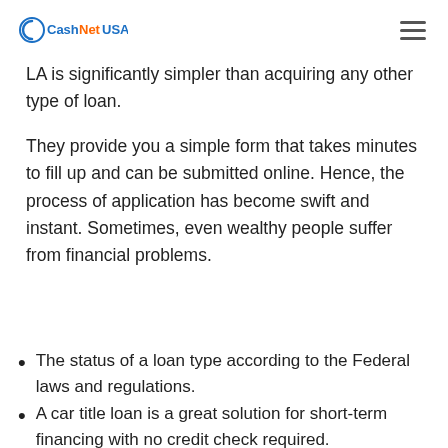CashNetUSA
LA is significantly simpler than acquiring any other type of loan.
They provide you a simple form that takes minutes to fill up and can be submitted online. Hence, the process of application has become swift and instant. Sometimes, even wealthy people suffer from financial problems.
The status of a loan type according to the Federal laws and regulations.
A car title loan is a great solution for short-term financing with no credit check required.